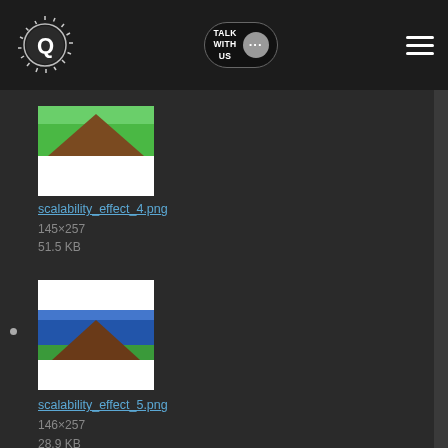[Figure (screenshot): Navigation bar with circular logo (Q-like icon with sun rays), 'TALK WITH US' button with speech bubble icon, and hamburger menu icon on dark background]
[Figure (photo): Thumbnail image for scalability_effect_4.png showing a road perspective with green fields and brown road on top half, white blank area on bottom half]
scalability_effect_4.png
145×257
51.5 KB
[Figure (photo): Thumbnail image for scalability_effect_5.png showing a road perspective with blue sky and green fields, brown road, white blank area on bottom half]
scalability_effect_5.png
146×257
28.9 KB
[Figure (photo): Partial thumbnail of a third file showing white area on top, dashed red line, colorful road image in center, dashed line, white area at bottom - partially cut off]